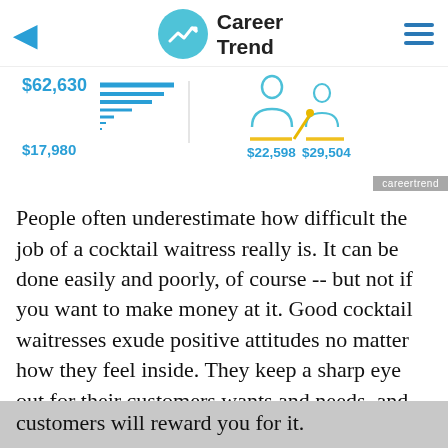Career Trend
[Figure (infographic): Salary infographic showing $62,630 at top left with stacked bar lines, $17,980 at bottom left, two person icons on right with $22,598 and $29,504 values, careertrend watermark badge]
People often underestimate how difficult the job of a cocktail waitress really is. It can be done easily and poorly, of course -- but not if you want to make money at it. Good cocktail waitresses exude positive attitudes no matter how they feel inside. They keep a sharp eye out for their customers wants and needs, and they're not afraid to employ some sales tactics to boost the bar tab. Do the job well, and your customers will reward you for it.